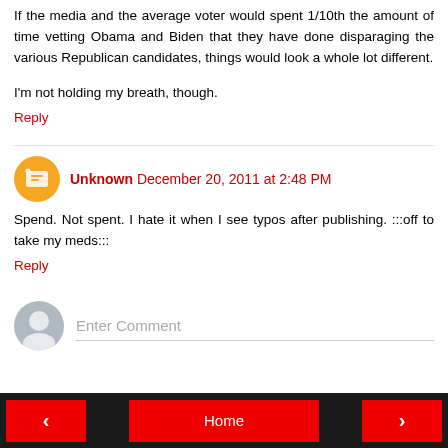If the media and the average voter would spent 1/10th the amount of time vetting Obama and Biden that they have done disparaging the various Republican candidates, things would look a whole lot different.
I'm not holding my breath, though.
Reply
Unknown  December 20, 2011 at 2:48 PM
Spend. Not spent. I hate it when I see typos after publishing. :::off to take my meds:::
Reply
Enter Comment
‹  Home  ›